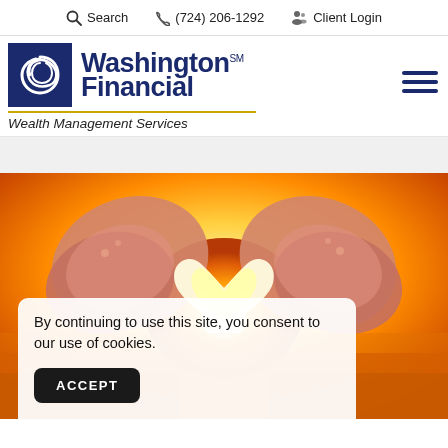Search   (724) 206-1292   Client Login
[Figure (logo): Washington Financial Wealth Management Services logo — dark blue square with white swirl graphic, bold dark blue text 'Washington Financial SM', italic tagline 'Wealth Management Services' below a gold rule]
[Figure (photo): Hands in winter mittens forming a heart shape against a warm sunset/golden sky background]
By continuing to use this site, you consent to our use of cookies.